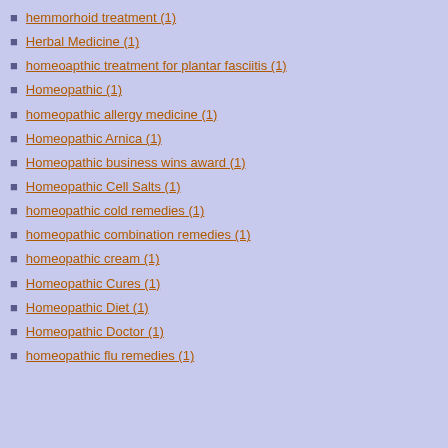hemmorhoid treatment (1)
Herbal Medicine (1)
homeoapthic treatment for plantar fasciitis (1)
Homeopathic (1)
homeopathic allergy medicine (1)
Homeopathic Arnica (1)
Homeopathic business wins award (1)
Homeopathic Cell Salts (1)
homeopathic cold remedies (1)
homeopathic combination remedies (1)
homeopathic cream (1)
Homeopathic Cures (1)
Homeopathic Diet (1)
Homeopathic Doctor (1)
homeopathic flu remedies (1)